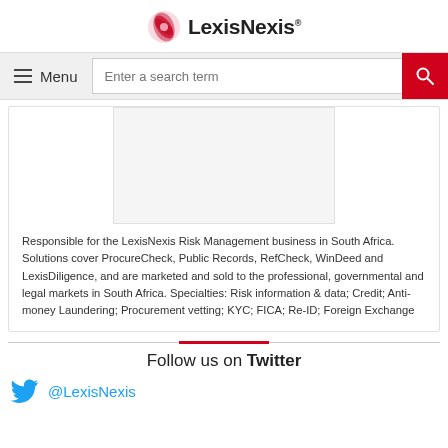[Figure (logo): LexisNexis logo with red globe/book icon and LexisNexis text]
Menu  Enter a search term [search button]
[Figure (photo): Placeholder image area within card]
Responsible for the LexisNexis Risk Management business in South Africa. Solutions cover ProcureCheck, Public Records, RefCheck, WinDeed and LexisDiligence, and are marketed and sold to the professional, governmental and legal markets in South Africa. Specialties: Risk information & data; Credit; Anti-money Laundering; Procurement vetting; KYC; FICA; Re-ID; Foreign Exchange
Follow us on Twitter
@LexisNexis